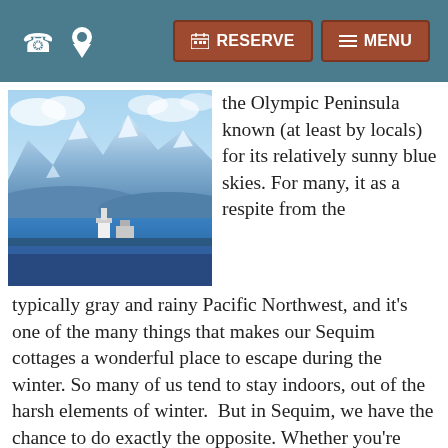RESERVE | MENU
[Figure (photo): Coastal scene with blue water, a lighthouse or small building structure on a spit of land, mountains with snow in the background under a blue sky with clouds.]
the Olympic Peninsula known (at least by locals) for its relatively sunny blue skies. For many, it as a respite from the typically gray and rainy Pacific Northwest, and it's one of the many things that makes our Sequim cottages a wonderful place to escape during the winter. So many of us tend to stay indoors, out of the harsh elements of winter.  But in Sequim, we have the chance to do exactly the opposite. Whether you're looking for traditional winter activities, such as skiing, snowshoeing, and